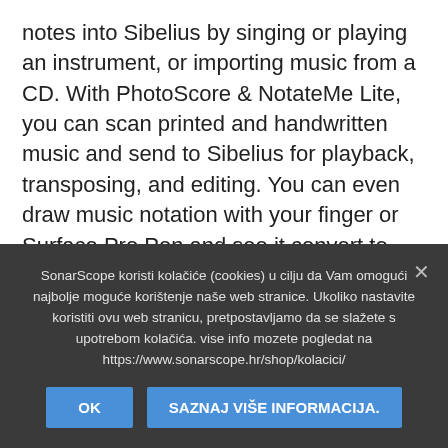notes into Sibelius by singing or playing an instrument, or importing music from a CD. With PhotoScore & NotateMe Lite, you can scan printed and handwritten music and send to Sibelius for playback, transposing, and editing. You can even draw music notation with your finger or Surface Pro Pen and see it convert to notation instantly.rnrnPUBLISH INTERACTIVE SCORESrnOnly Sibelius Ultimate offers a complete end-to-end work ow that takes you from initial idea to publishing and selling music online. Sibelius Cloud Publishing technology enhances the sheet music shopping
SonarScope koristi kolačiće (cookies) u cilju da Vam omogući najbolje moguće korištenje naše web stranice. Ukoliko nastavite koristiti ovu web stranicu, pretpostavljamo da se slažete s upotrebom kolačića. vise info mozete pogledat na https://www.sonarscope.hr/shop/kolacici/
OK
SAZNAJ VIŠE INFORMACIJA.